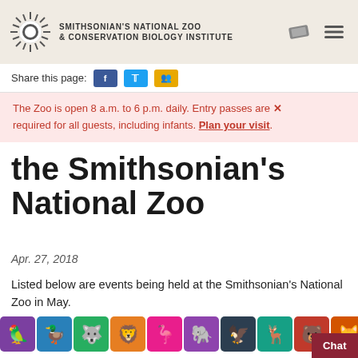SMITHSONIAN'S NATIONAL ZOO & CONSERVATION BIOLOGY INSTITUTE
Share this page:
The Zoo is open 8 a.m. to 6 p.m. daily. Entry passes are required for all guests, including infants. Plan your visit.
the Smithsonian's National Zoo
Apr. 27, 2018
Listed below are events being held at the Smithsonian's National Zoo in May.
[Figure (illustration): International Family Equality Day at the Zoo — colorful grid of animal silhouette icons in rainbow colors with event title text overlay]